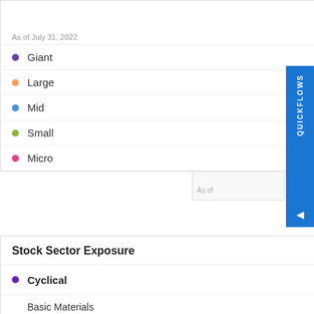As of July 31, 2022
Giant — Upgrade
Large — Upgrade
Mid — Upgrade
Small — --
Micro — --
Stock Sector Exposure
Cyclical
Basic Materials